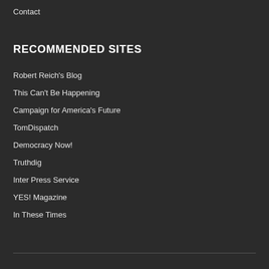Contact
RECOMMENDED SITES
Robert Reich's Blog
This Can't Be Happening
Campaign for America's Future
TomDispatch
Democracy Now!
Truthdig
Inter Press Service
YES! Magazine
In These Times